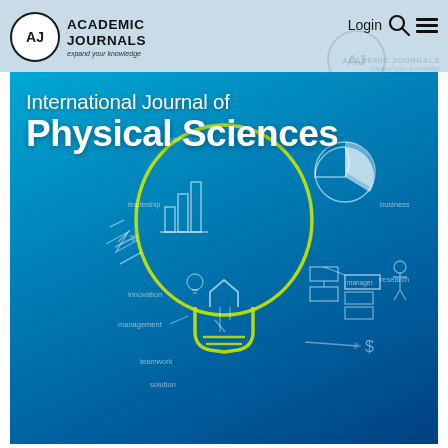[Figure (logo): Academic Journals logo with circle AJ monogram and text 'ACADEMIC JOURNALS expand your knowledge']
[Figure (screenshot): Website header with login link, search icon, and hamburger menu on light blue background. Background watermark of Academic Journals circular logo.]
[Figure (photo): Journal cover image on blue background showing a glowing light bulb made of yellow outline held by a hand, surrounded by white chalk doodles of business and science concepts including charts, arrows, pie chart, flowcharts, and words like innovation, management, teamwork, solution, business, research.]
International Journal of Physical Sciences